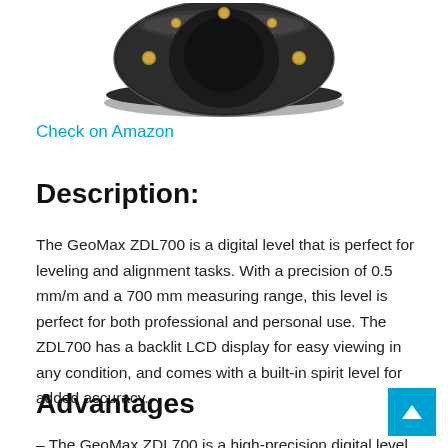[Figure (photo): GeoMax ZDL700 digital level device, top-down view showing a dark circular instrument with gold screws/knobs on a white background]
Check on Amazon
Description:
The GeoMax ZDL700 is a digital level that is perfect for leveling and alignment tasks. With a precision of 0.5 mm/m and a 700 mm measuring range, this level is perfect for both professional and personal use. The ZDL700 has a backlit LCD display for easy viewing in any condition, and comes with a built-in spirit level for added accuracy.
Advantages
– The GeoMax ZDL700 is a high-precision digital level that is